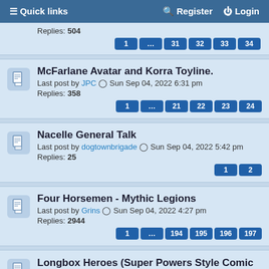Quick links  Register  Login
Replies: 504
Pages: 1 ... 31 32 33 34
McFarlane Avatar and Korra Toyline.
Last post by JPC  Sun Sep 04, 2022 6:31 pm
Replies: 358
Pages: 1 ... 21 22 23 24
Nacelle General Talk
Last post by dogtownbrigade  Sun Sep 04, 2022 5:42 pm
Replies: 25
Pages: 1 2
Four Horsemen - Mythic Legions
Last post by Grins  Sun Sep 04, 2022 4:27 pm
Replies: 2944
Pages: 1 ... 194 195 196 197
Longbox Heroes (Super Powers Style Comic Characters)